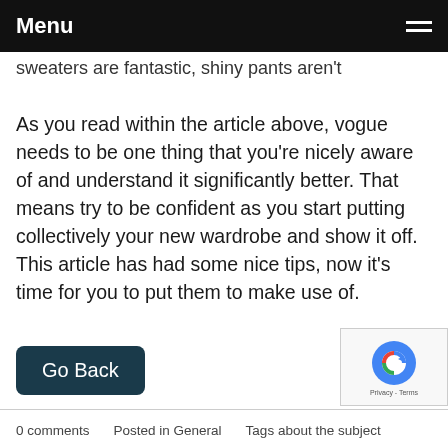Menu
sweaters are fantastic, shiny pants aren't
As you read within the article above, vogue needs to be one thing that you're nicely aware of and understand it significantly better. That means try to be confident as you start putting collectively your new wardrobe and show it off. This article has had some nice tips, now it's time for you to put them to make use of.
Go Back
[Figure (logo): reCAPTCHA badge with Google logo and Privacy - Terms text]
0 comments   Posted in General   Tags about the subject